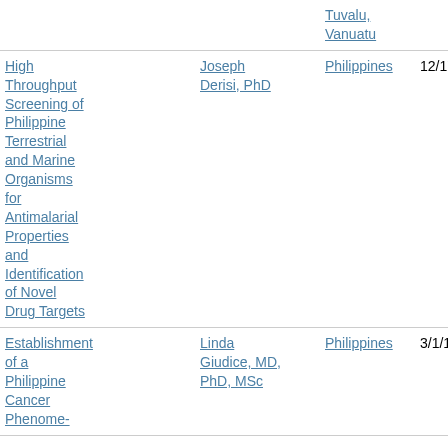| Title | PI | Country | Start Date | End Date |
| --- | --- | --- | --- | --- |
| Tuvalu, Vanuatu |  |  |  |  |
| High Throughput Screening of Philippine Terrestrial and Marine Organisms for Antimalarial Properties and Identification of Novel Drug Targets | Joseph Derisi, PhD | Philippines | 12/17/14 | 7/31/19 |
| Establishment of a Philippine Cancer Phenome- | Linda Giudice, MD, PhD, MSc | Philippines | 3/1/17 | 8/31/19 |